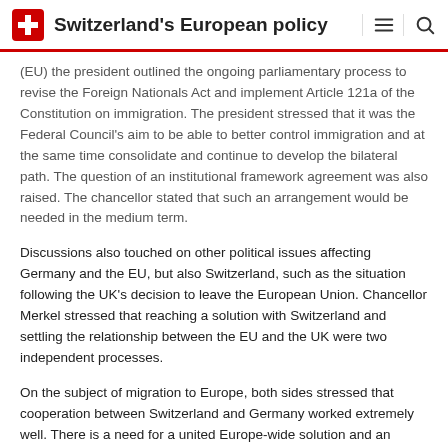Switzerland's European policy
(EU) the president outlined the ongoing parliamentary process to revise the Foreign Nationals Act and implement Article 121a of the Constitution on immigration. The president stressed that it was the Federal Council's aim to be able to better control immigration and at the same time consolidate and continue to develop the bilateral path. The question of an institutional framework agreement was also raised. The chancellor stated that such an arrangement would be needed in the medium term.
Discussions also touched on other political issues affecting Germany and the EU, but also Switzerland, such as the situation following the UK's decision to leave the European Union. Chancellor Merkel stressed that reaching a solution with Switzerland and settling the relationship between the EU and the UK were two independent processes.
On the subject of migration to Europe, both sides stressed that cooperation between Switzerland and Germany worked extremely well. There is a need for a united Europe-wide solution and an improved system for dispersing refugees within Europe. The matter of Zurich airport was also raised during the meeting. The Swiss delegation